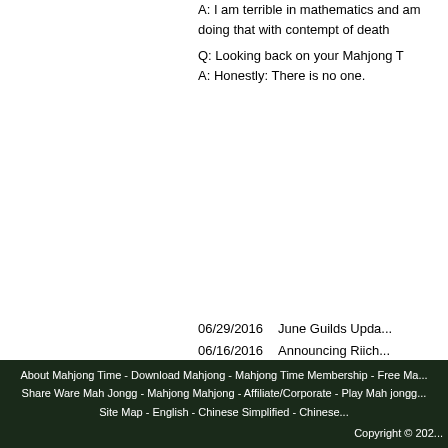A: I am terrible in mathematics and am doing that with contempt of death
Q: Looking back on your Mahjong T
A: Honestly: There is no one.
06/29/2016   June Guilds Upda...
06/16/2016   Announcing Riich...
06/16/2016   Announcing Ame...
05/30/2016   May Guilds Upda...
04/29/2016   April Guilds Upda...
First  Prev  1
21  22  23
41  42  43
61  62  63
81  82  83
About Mahjong Time - Download Mahjong - Mahjong Time Membership - Free Ma...
Share Ware Mah Jongg - Mahjong Mahjong - Affiliate/Corporate - Play Mah jongg...
Site Map - English - Chinese Simplified - Chinese...
Copyright © 202...